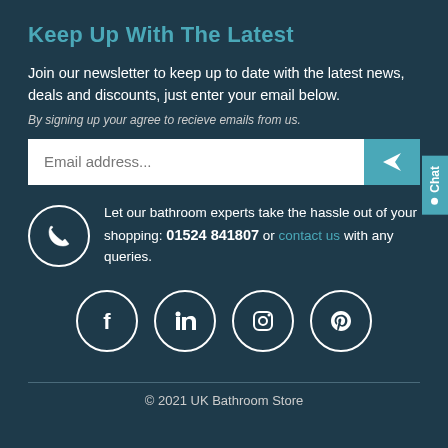Keep Up With The Latest
Join our newsletter to keep up to date with the latest news, deals and discounts, just enter your email below.
By signing up your agree to recieve emails from us.
[Figure (screenshot): Email address input field with teal submit arrow button]
Let our bathroom experts take the hassle out of your shopping: 01524 841807 or contact us with any queries.
[Figure (infographic): Four social media icons in circles: Facebook, LinkedIn, Instagram, Pinterest]
© 2021 UK Bathroom Store